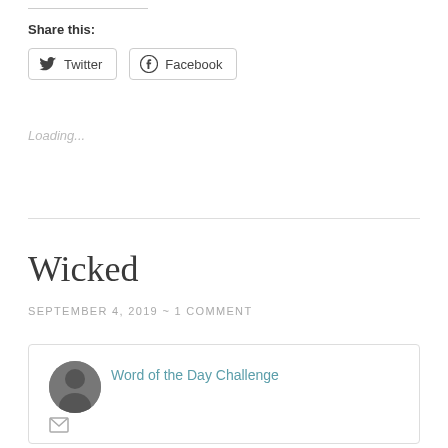Share this:
Twitter  Facebook
Loading...
Wicked
SEPTEMBER 4, 2019 ~ 1 COMMENT
Word of the Day Challenge